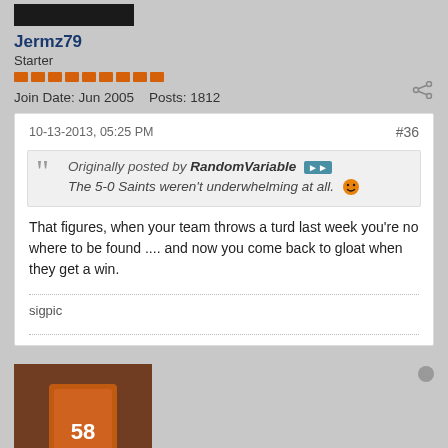[Figure (screenshot): Black avatar image placeholder bar]
Jermz79
Starter
Join Date: Jun 2005   Posts: 1812
10-13-2013, 05:25 PM
#36
Originally posted by RandomVariable
The 5-0 Saints weren't underwhelming at all.
That figures, when your team throws a turd last week you're no where to be found .... and now you come back to gloat when they get a win.
sigpic
[Figure (photo): Football player in Denver Broncos uniform, number 58, on field]